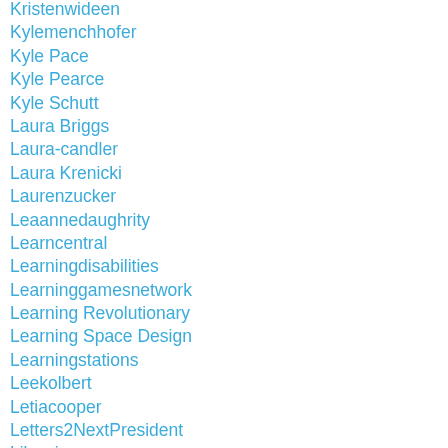Kristenwideen
Kylemenchhofer
Kyle Pace
Kyle Pearce
Kyle Schutt
Laura Briggs
Laura-candler
Laura Krenicki
Laurenzucker
Leaannedaughrity
Learncentral
Learningdisabilities
Learninggamesnetwork
Learning Revolutionary
Learning Space Design
Learningstations
Leekolbert
Letiacooper
Letters2NextPresident
Librarian
Lindayollis